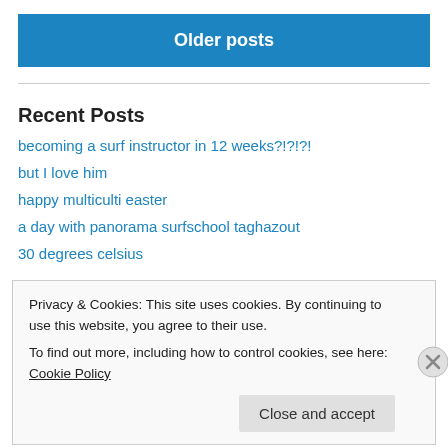Older posts
Recent Posts
becoming a surf instructor in 12 weeks?!?!?!
but I love him
happy multiculti easter
a day with panorama surfschool taghazout
30 degrees celsius
Privacy & Cookies: This site uses cookies. By continuing to use this website, you agree to their use.
To find out more, including how to control cookies, see here: Cookie Policy
Close and accept